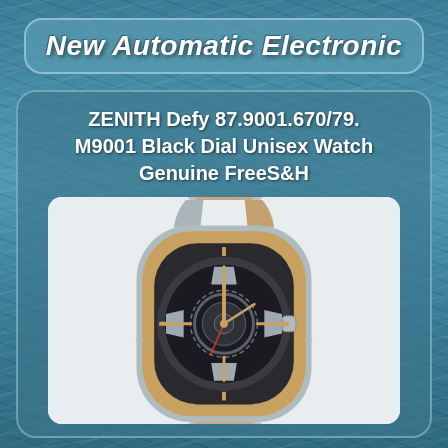New Automatic Electronic
ZENITH Defy 87.9001.670/79. M9001 Black Dial Unisex Watch Genuine FreeS&H
[Figure (photo): Photo of a ZENITH Defy watch with a skeleton dial, rose gold bezel and accents, and stainless steel bracelet with rose gold links. The watch shows a complex movement visible through the open dial. Watermarks for 'watchcart' and 'ebay' are visible at the bottom of the image.]